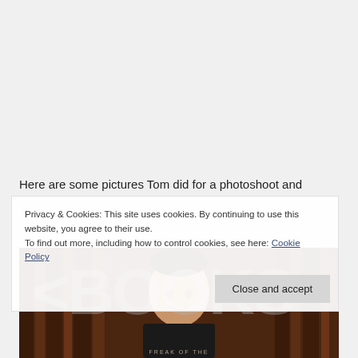Here are some pictures Tom did for a photoshoot and
[Figure (photo): Watermark text reading '<BOOKS' overlaid on a dark background, below which is a photo of a man in a suit (Tom) against a dark background with text 'FREAK OF THE' partially visible at the bottom]
Privacy & Cookies: This site uses cookies. By continuing to use this website, you agree to their use.
To find out more, including how to control cookies, see here: Cookie Policy
[Close and accept button]